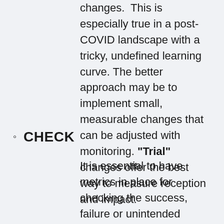changes.  This is especially true in a post-COVID landscape with a tricky, undefined learning curve. The better approach may be to implement small, measurable changes that can be adjusted with monitoring. "Trial" changes offer the best way to measure reception and impact.
CHECK
It is essential to have metrics in place for checking the success, failure or unintended consequences of newly implemented changes. This is the